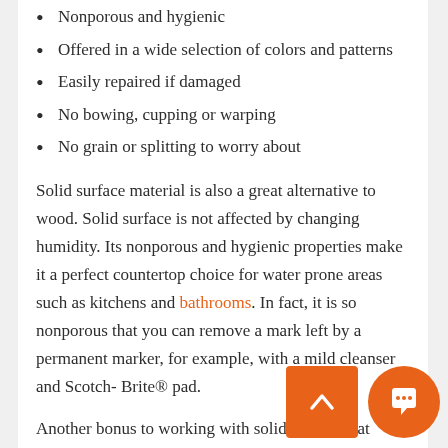Nonporous and hygienic
Offered in a wide selection of colors and patterns
Easily repaired if damaged
No bowing, cupping or warping
No grain or splitting to worry about
Solid surface material is also a great alternative to wood. Solid surface is not affected by changing humidity. Its nonporous and hygienic properties make it a perfect countertop choice for water prone areas such as kitchens and bathrooms. In fact, it is so nonporous that you can remove a mark left by a permanent marker, for example, with a mild cleanser and Scotch- Brite® pad.
Another bonus to working with solid surface that carries the National Sanitation Foundation